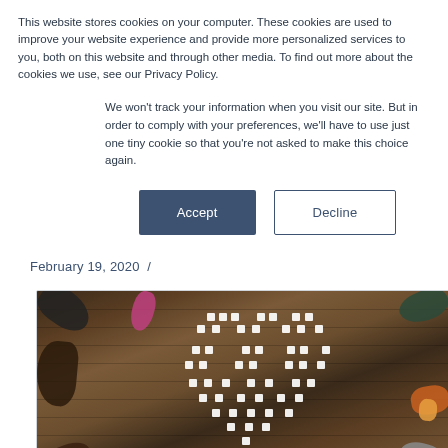This website stores cookies on your computer. These cookies are used to improve your website experience and provide more personalized services to you, both on this website and through other media. To find out more about the cookies we use, see our Privacy Policy.
We won't track your information when you visit our site. But in order to comply with your preferences, we'll have to use just one tiny cookie so that you're not asked to make this choice again.
Accept | Decline (buttons)
February 19, 2020  /
[Figure (photo): Aerial view of multiple people's hands around a wooden table assembling white puzzle pieces into a pattern, viewed from above.]